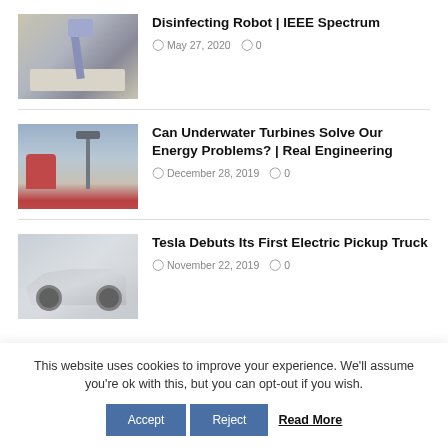[Figure (photo): Photo of a disinfecting robot with UV arm over a surface]
Disinfecting Robot | IEEE Spectrum
May 27, 2020   0
[Figure (photo): Photo showing offshore wind turbines with person in red in foreground]
Can Underwater Turbines Solve Our Energy Problems? | Real Engineering
December 28, 2019   0
[Figure (photo): Photo of Tesla Cybertruck electric pickup truck]
Tesla Debuts Its First Electric Pickup Truck
November 22, 2019   0
This website uses cookies to improve your experience. We'll assume you're ok with this, but you can opt-out if you wish.